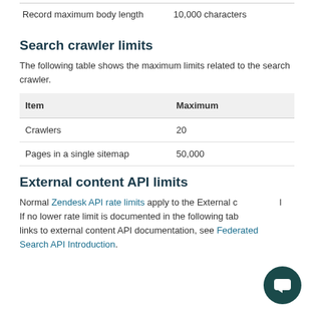|  |  |
| --- | --- |
| Record maximum body length | 10,000 characters |
Search crawler limits
The following table shows the maximum limits related to the search crawler.
| Item | Maximum |
| --- | --- |
| Crawlers | 20 |
| Pages in a single sitemap | 50,000 |
External content API limits
Normal Zendesk API rate limits apply to the External content API. If no lower rate limit is documented in the following table. For links to external content API documentation, see Federated Search API Introduction.